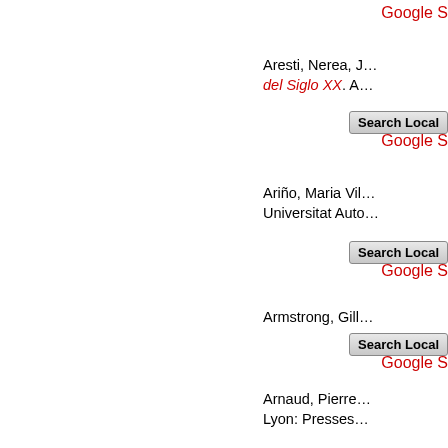Google S…
Aresti, Nerea, J… del Siglo XX. A…
Search Local
Google S…
Ariño, Maria Vil… Universitat Auto…
Search Local
Google S…
Armstrong, Gill…
Search Local
Google S…
Arnaud, Pierre… Lyon: Presses…
Search Local
Google S…
Arvelo, Alberto…